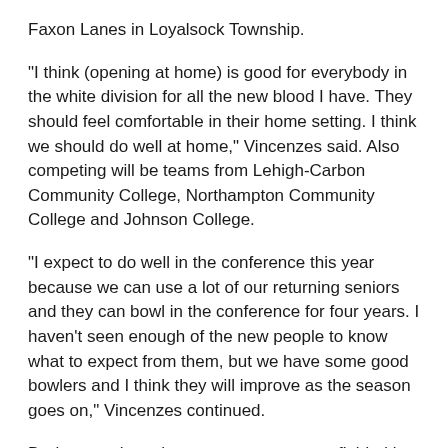Faxon Lanes in Loyalsock Township.
“I think (opening at home) is good for everybody in the white division for all the new blood I have. They should feel comfortable in their home setting. I think we should do well at home,” Vincenzes said. Also competing will be teams from Lehigh-Carbon Community College, Northampton Community College and Johnson College.
“I expect to do well in the conference this year because we can use a lot of our returning seniors and they can bowl in the conference for four years. I haven’t seen enough of the new people to know what to expect from them, but we have some good bowlers and I think they will improve as the season goes on,” Vincenzes continued.
During matches, three-person teams are fielded in three divisions blue (best men), gold (best women) and white (mixed).